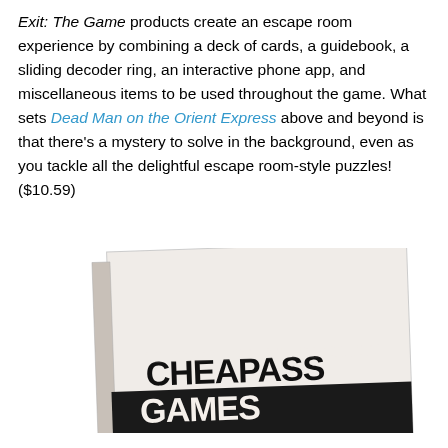Exit: The Game products create an escape room experience by combining a deck of cards, a guidebook, a sliding decoder ring, an interactive phone app, and miscellaneous items to be used throughout the game. What sets Dead Man on the Orient Express above and beyond is that there's a mystery to solve in the background, even as you tackle all the delightful escape room-style puzzles! ($10.59)
[Figure (photo): A photo of a board game box showing 'CHEAPASS GAMES' text in a distressed font on a light-colored cover, photographed at a slight angle.]